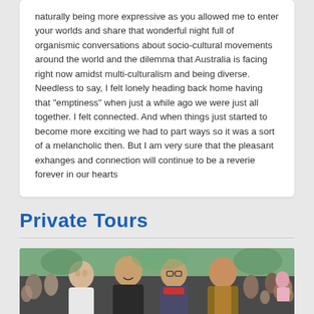naturally being more expressive as you allowed me to enter your worlds and share that wonderful night full of organismic conversations about socio-cultural movements around the world and the dilemma that Australia is facing right now amidst multi-culturalism and being diverse. Needless to say, I felt lonely heading back home having that "emptiness" when just a while ago we were just all together. I felt connected. And when things just started to become more exciting we had to part ways so it was a sort of a melancholic then. But I am very sure that the pleasant exhanges and connection will continue to be a reverie forever in our hearts
Private Tours
[Figure (photo): Group photo of four smiling people outdoors in a crowd setting]